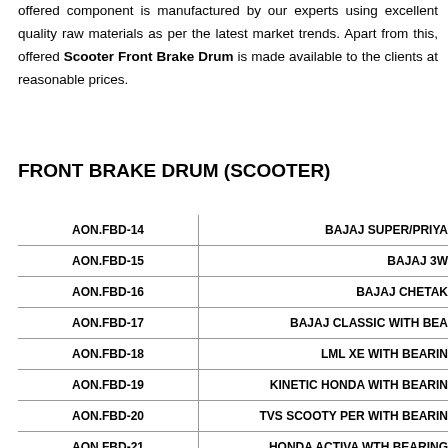offered component is manufactured by our experts using excellent quality raw materials as per the latest market trends. Apart from this, offered Scooter Front Brake Drum is made available to the clients at reasonable prices.
FRONT BRAKE DRUM (SCOOTER)
| Part No. | Application |
| --- | --- |
| AON.FBD-14 | BAJAJ SUPER/PRIYA |
| AON.FBD-15 | BAJAJ 3W |
| AON.FBD-16 | BAJAJ CHETAK |
| AON.FBD-17 | BAJAJ CLASSIC WITH BEA... |
| AON.FBD-18 | LML XE WITH BEARIN... |
| AON.FBD-19 | KINETIC HONDA WITH BEARIN... |
| AON.FBD-20 | TVS SCOOTY PER WITH BEARIN... |
| AON.FBD-21 | HONDA ACTIVA WTH BEARING |
| AON.FBD-22 | HONDA ETERNO WITH BEARIN... |
| AON.FBD-23 | HONDA ACTIVA NM WITH BEARI... |
| AON.FBD-24 | SUZUKI ACCESS WITH BEARIN... |